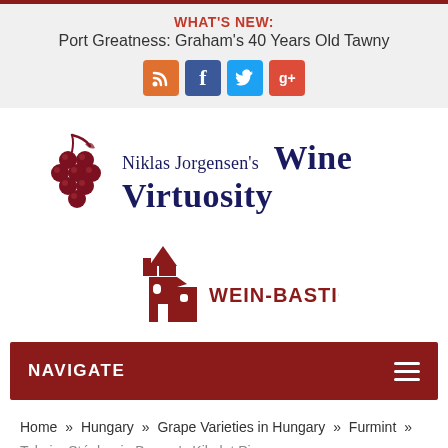WHAT'S NEW: Port Greatness: Graham's 40 Years Old Tawny
[Figure (infographic): Social media icon buttons: RSS (orange), Facebook (blue), Twitter (light blue), Google+ (red)]
[Figure (logo): Niklas Jorgensen's Wine Virtuosity logo with dark red grape cluster icon]
[Figure (logo): WEIN-BASTION logo with dark red tower/building icon]
NAVIGATE
Home » Hungary » Grape Varieties in Hungary » Furmint » Tokaj – Stéphanie Berecz's Kikelet Pince